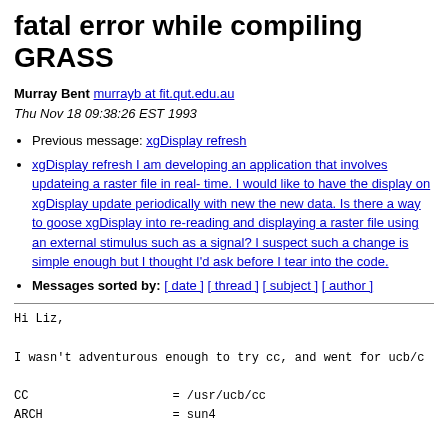fatal error while compiling GRASS
Murray Bent murrayb at fit.qut.edu.au
Thu Nov 18 09:38:26 EST 1993
Previous message: xgDisplay refresh
Next message: xgDisplay refresh I am developing an application that involves updateing a raster file in real- time. I would like to have the display on xgDisplay update periodically with new the new data. Is there a way to goose xgDisplay into re-reading and displaying a raster file using an external stimulus such as a signal? I suspect such a change is simple enough but I thought I'd ask before I tear into the code.
Messages sorted by: [ date ] [ thread ] [ subject ] [ author ]
Hi Liz,

I wasn't adventurous enough to try cc, and went for ucb/c

CC                    = /usr/ucb/cc
ARCH                  = sun4